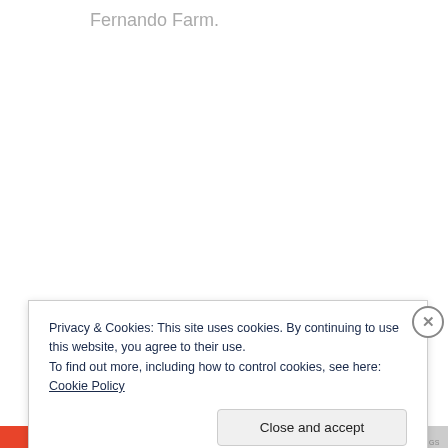Fernando Farm.
Privacy & Cookies: This site uses cookies. By continuing to use this website, you agree to their use.
To find out more, including how to control cookies, see here: Cookie Policy
Close and accept